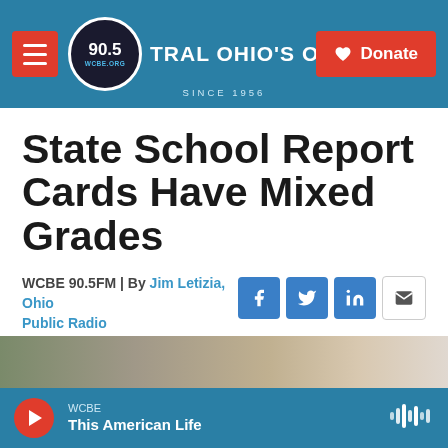90.5 WCBE CENTRAL OHIO'S ORIGINAL NPR STATION SINCE 1956
State School Report Cards Have Mixed Grades
WCBE 90.5FM | By Jim Letizia, Ohio Public Radio
Published September 14, 2017 at 8:05 PM EDT
[Figure (screenshot): Listen button with play icon showing duration 3:41]
[Figure (photo): Partial photo visible at bottom of page]
WCBE This American Life